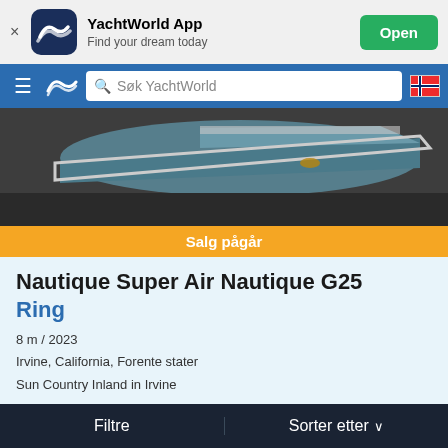[Figure (screenshot): YachtWorld App banner with dark blue app icon showing wave logo, app name and tagline, and green Open button]
[Figure (screenshot): YachtWorld navigation bar with hamburger menu, logo, search field 'Søk YachtWorld', and Norwegian flag icon]
[Figure (photo): Partial aerial/overhead photo of a blue and white boat hull on dark water]
Salg pågår
Nautique Super Air Nautique G25
Ring
8 m / 2023
Irvine, California, Forente stater
Sun Country Inland in Irvine
[Figure (logo): Sun Country Marine Group logo — circular emblem with text below]
[Figure (screenshot): Bottom navigation bar with Filtre and Sorter etter options]